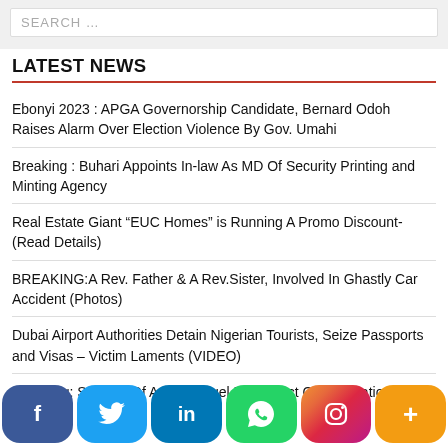SEARCH ...
LATEST NEWS
Ebonyi 2023 : APGA Governorship Candidate, Bernard Odoh Raises Alarm Over Election Violence By Gov. Umahi
Breaking : Buhari Appoints In-law As MD Of Security Printing and Minting Agency
Real Estate Giant “EUC Homes” is Running A Promo Discount-(Read Details)
BREAKING:A Rev. Father & A Rev.Sister, Involved In Ghastly Car Accident (Photos)
Dubai Airport Authorities Detain Nigerian Tourists, Seize Passports and Visas – Victim Laments (VIDEO)
Shocking: Scarcity Of Aviation Fuel May Affect Our Operations,
[Figure (infographic): Social media share buttons: Facebook (blue), Twitter (light blue), LinkedIn (dark blue), WhatsApp (green), Instagram (gradient), More/Plus (orange)]